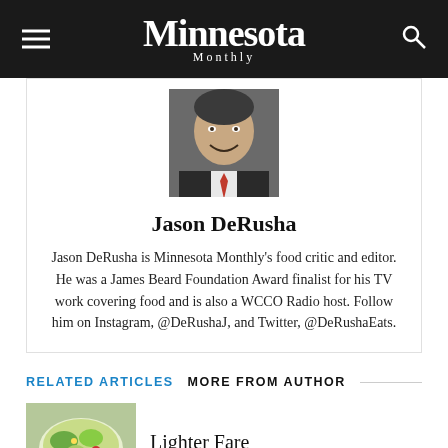Minnesota Monthly
[Figure (photo): Headshot photo of Jason DeRusha, a man in a suit smiling]
Jason DeRusha
Jason DeRusha is Minnesota Monthly's food critic and editor. He was a James Beard Foundation Award finalist for his TV work covering food and is also a WCCO Radio host. Follow him on Instagram, @DeRushaJ, and Twitter, @DeRushaEats.
RELATED ARTICLES   MORE FROM AUTHOR
[Figure (photo): Thumbnail image of a salad dish]
Lighter Fare